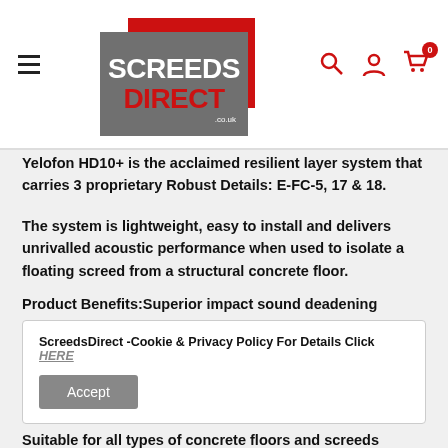[Figure (logo): Screedsdirect logo — grey and red rectangular logo with white text SCREEDSDIRECT and .co.uk]
Yelofon HD10+ is the acclaimed resilient layer system that carries 3 proprietary Robust Details: E-FC-5, 17 & 18.
The system is lightweight, easy to install and delivers unrivalled acoustic performance when used to isolate a floating screed from a structural concrete floor.
Product Benefits:Superior impact sound deadening
ScreedsDirect -Cookie & Privacy Policy For Details Click HERE
Suitable for all types of concrete floors and screeds